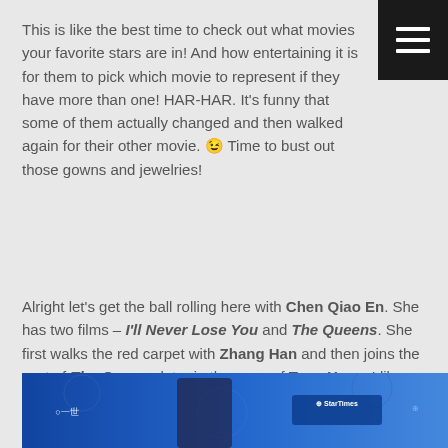This is like the best time to check out what movies your favorite stars are in! And how entertaining it is for them to pick which movie to represent if they have more than one! HAR-HAR. It's funny that some of them actually changed and then walked again for their other movie. 😉 Time to bust out those gowns and jewelries!
Alright let's get the ball rolling here with Chen Qiao En. She has two films – I'll Never Lose You and The Queens. She first walks the red carpet with Zhang Han and then joins the cast of The Queens later in the arms of Tony Yang. I like second dress better.
[Figure (photo): Photo of a person at what appears to be a red carpet event with a blue background showing logos including StarTimes]